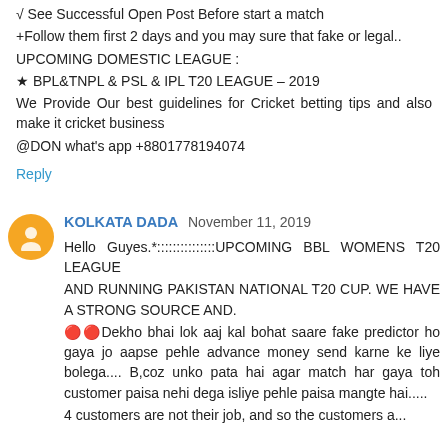√ See Successful Open Post Before start a match
+Follow them first 2 days and you may sure that fake or legal..
UPCOMING DOMESTIC LEAGUE :
★ BPL&TNPL & PSL & IPL T20 LEAGUE – 2019
We Provide Our best guidelines for Cricket betting tips and also make it cricket business
@DON what's app +8801778194074
Reply
KOLKATA DADA  November 11, 2019
Hello Guyes.*:::::::::::::::UPCOMING BBL WOMENS T20 LEAGUE
AND RUNNING PAKISTAN NATIONAL T20 CUP. WE HAVE A STRONG SOURCE AND.
🔴🔴Dekho bhai lok aaj kal bohat saare fake predictor ho gaya jo aapse pehle advance money send karne ke liye bolega.... B,coz unko pata hai agar match har gaya toh customer paisa nehi dega isliye pehle paisa mangte hai.....